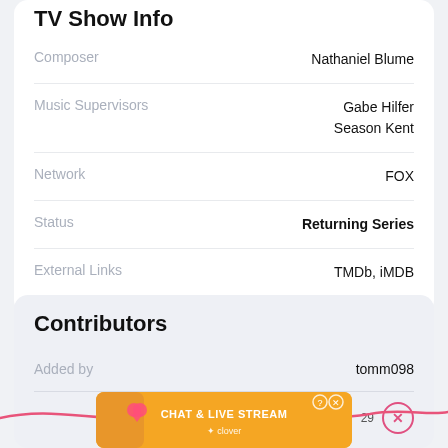TV Show Info
| Field | Value |
| --- | --- |
| Composer | Nathaniel Blume |
| Music Supervisors | Gabe Hilfer
Season Kent |
| Network | FOX |
| Status | Returning Series |
| External Links | TMDb, iMDB |
Contributors
| Field | Value |
| --- | --- |
| Added by | tomm098 |
|  | tomm098  29 |
[Figure (screenshot): Orange advertisement banner for 'Chat & Live Stream' powered by Clover, with a woman in a swimsuit and heart emojis]
[Figure (illustration): Pink wavy line decorative element]